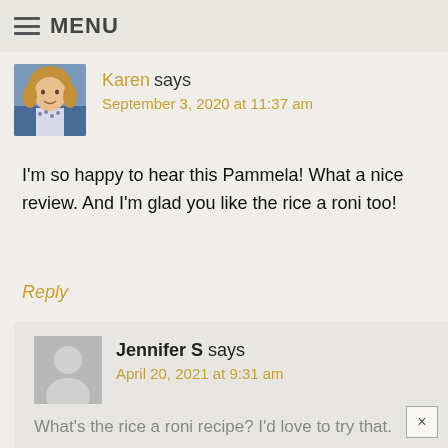MENU
Karen says
September 3, 2020 at 11:37 am
I'm so happy to hear this Pammela! What a nice review. And I'm glad you like the rice a roni too!
Reply
Jennifer S says
April 20, 2021 at 9:31 am
What's the rice a roni recipe? I'd love to try that.